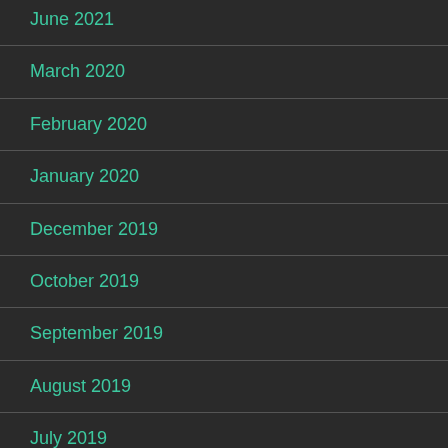June 2021
March 2020
February 2020
January 2020
December 2019
October 2019
September 2019
August 2019
July 2019